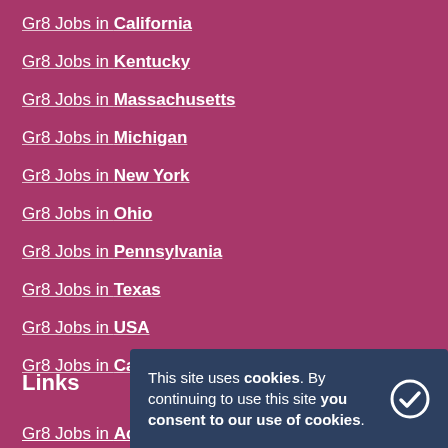Gr8 Jobs in California
Gr8 Jobs in Kentucky
Gr8 Jobs in Massachusetts
Gr8 Jobs in Michigan
Gr8 Jobs in New York
Gr8 Jobs in Ohio
Gr8 Jobs in Pennsylvania
Gr8 Jobs in Texas
Gr8 Jobs in USA
Gr8 Jobs in Canada
Links
Gr8 Jobs in Accounting
This site uses cookies. By continuing to use this site you consent to our use of cookies.